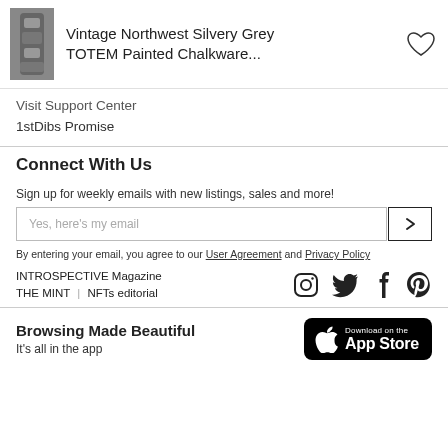Vintage Northwest Silvery Grey TOTEM Painted Chalkware...
Visit Support Center
1stDibs Promise
Connect With Us
Sign up for weekly emails with new listings, sales and more!
Yes, here's my email
By entering your email, you agree to our User Agreement and Privacy Policy
INTROSPECTIVE Magazine
THE MINT  |  NFTs editorial
[Figure (illustration): Social media icons: Instagram, Twitter, Facebook, Pinterest]
Browsing Made Beautiful
It's all in the app
[Figure (logo): Download on the App Store badge]